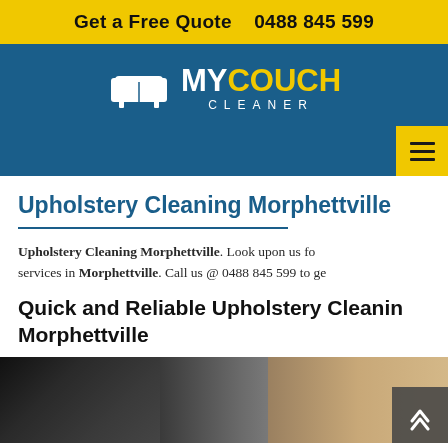Get a Free Quote   0488 845 599
[Figure (logo): My Couch Cleaner logo with sofa icon and yellow/white text on blue background]
[Figure (other): Navigation bar with yellow hamburger menu button on blue background]
Upholstery Cleaning Morphettville
Upholstery Cleaning Morphettville. Look upon us fo services in Morphettville. Call us @ 0488 845 599 to ge
Quick and Reliable Upholstery Cleaning Morphettville
[Figure (photo): Blurred photo of a couch/sofa, dark on left fading to tan/brown on right]